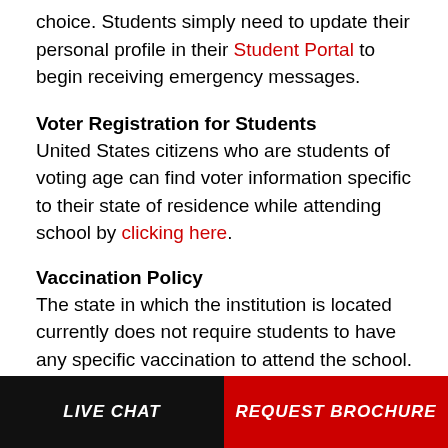choice. Students simply need to update their personal profile in their Student Portal to begin receiving emergency messages.
Voter Registration for Students
United States citizens who are students of voting age can find voter information specific to their state of residence while attending school by clicking here.
Vaccination Policy
The state in which the institution is located currently does not require students to have any specific vaccination to attend the school.
Drug and Alcohol Policies
Policies regarding drug and alcohol use can be found by clicking here.
LIVE CHAT | REQUEST BROCHURE